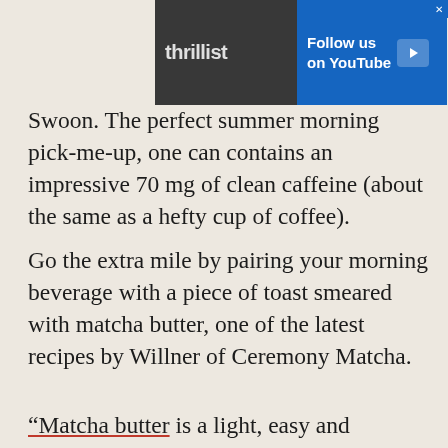[Figure (screenshot): Thrillist advertisement banner at top with YouTube follow button]
Swoon. The perfect summer morning pick-me-up, one can contains an impressive 70 mg of clean caffeine (about the same as a hefty cup of coffee).
Go the extra mile by pairing your morning beverage with a piece of toast smeared with matcha butter, one of the latest recipes by Willner of Ceremony Matcha.
ADVERTISEMENT
[Figure (screenshot): Advertisement for Messy History of American Food with colorful logo and Statue of Liberty image]
“Matcha butter is a light, easy and delicious way to